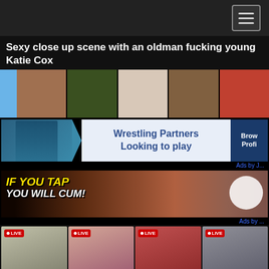Navigation bar with hamburger menu icon
Sexy close up scene with an oldman fucking young Katie Cox
[Figure (photo): Row of thumbnail preview images from adult video content]
[Figure (infographic): Advertisement banner: Wrestling Partners Looking to play / Browse Profiles]
[Figure (infographic): Advertisement banner: IF YOU TAP YOU WILL CUM!]
[Figure (photo): Four live webcam thumbnails: Canadian_B... (female), knottyNeigh... (male), CarlaConnor (female), FERRARI_R...]
[Figure (photo): Partial bottom thumbnail strip]